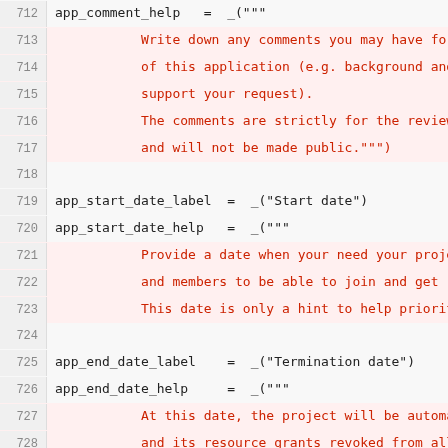[Figure (screenshot): Source code screenshot showing Python/Django translation strings for application form fields including app_comment_help, app_start_date_label, app_start_date_help, app_end_date_label, app_end_date_help, join_policy_label, app_member_join_policy_help, leave_policy_label, app_member_leave_policy_help, with line numbers 712-737. String content lines are highlighted in pink/red.]